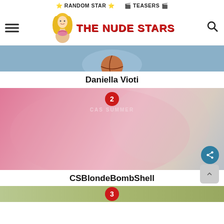⭐ RANDOM STAR ⭐  🎬 TEASERS 🎬
[Figure (logo): The Nude Stars website logo with illustrated blonde character and red bold text 'THE NUDE STARS']
[Figure (photo): Partial image showing person holding basketball, blue tones]
Daniella Vioti
[Figure (photo): Young blonde woman in pink bikini lying down, 'CAS SUMMER' watermark, badge number 2]
CSBlondeBombShell
[Figure (photo): Partial third image with badge number 3, green tones]